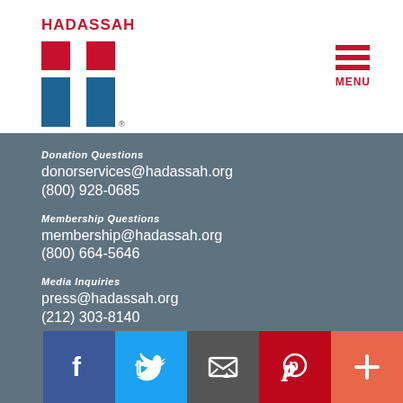[Figure (logo): Hadassah organization logo with red squares on top and blue H-shape below, with HADASSAH text above]
MENU
Donation Questions
donorservices@hadassah.org
(800) 928-0685
Membership Questions
membership@hadassah.org
(800) 664-5646
Media Inquiries
press@hadassah.org
(212) 303-8140
[Figure (infographic): Social media icon bar: Facebook, Twitter, Email, Pinterest, Plus buttons]